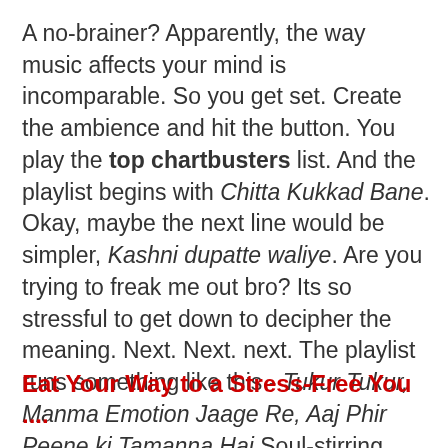A no-brainer? Apparently, the way music affects your mind is incomparable. So you get set. Create the ambience and hit the button. You play the top chartbusters list. And the playlist begins with Chitta Kukkad Bane. Okay, maybe the next line would be simpler, Kashni dupatte waliye. Are you trying to freak me out bro? Its so stressful to get down to decipher the meaning. Next. Next. next. The playlist runs something like this - Tukur Tukur, Manma Emotion Jaage Re, Aaj Phir Peene ki Tamanna Hai Soul-stirring, heart-touching music indeed.
Eat Your Way to a Stress-Free You ....